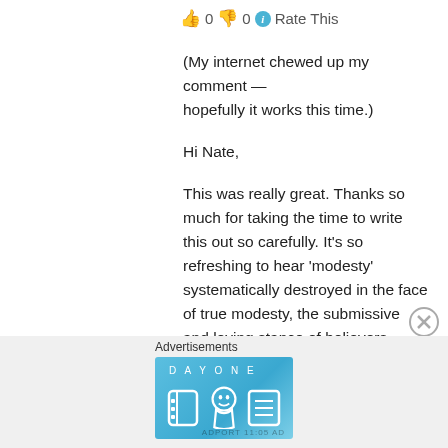👍 0 👎 0 ℹ Rate This
(My internet chewed up my comment — hopefully it works this time.)
Hi Nate,
This was really great. Thanks so much for taking the time to write this out so carefully. It's so refreshing to hear 'modesty' systematically destroyed in the face of true modesty, the submissive and loving stance of believers before Christ. Equality goes so much deeper than we think it does.
Advertisements
[Figure (other): Day One journaling app advertisement banner with blue background, app icons, and text 'The only journaling app you'll ever need.']